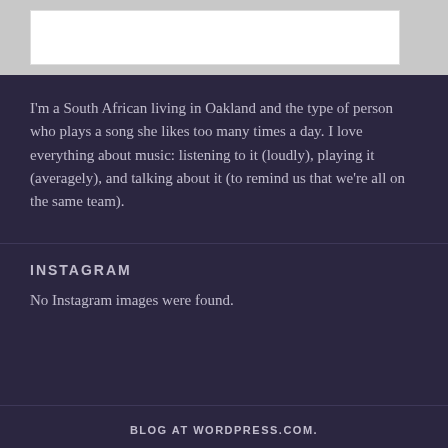[Figure (other): White rectangle box on grey background at top of page]
I'm a South African living in Oakland and the type of person who plays a song she likes too many times a day. I love everything about music: listening to it (loudly), playing it (averagely), and talking about it (to remind us that we're all on the same team).
INSTAGRAM
No Instagram images were found.
BLOG AT WORDPRESS.COM.